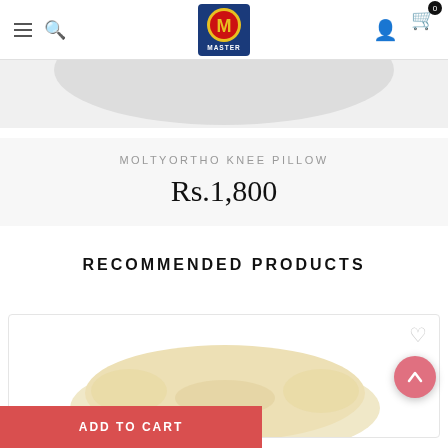[Figure (screenshot): E-commerce website header with hamburger menu, search icon, Master Molty Foam logo (blue box with yellow circle and red M), user account icon, and cart icon with badge showing 0]
[Figure (photo): Partial view of a white/grey pillow product at the top of the page]
MOLTYORTHO KNEE PILLOW
Rs.1,800
RECOMMENDED PRODUCTS
[Figure (photo): Recommended product card showing a cream/beige colored MoltyOrtho Knee Pillow with contoured shape, with a heart (wishlist) icon in the top right corner]
[Figure (other): Pink circular scroll-to-top button with upward arrow]
ADD TO CART